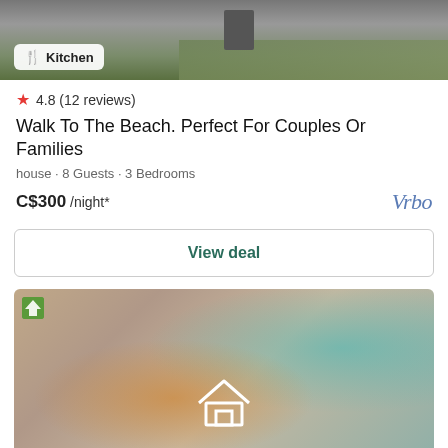[Figure (photo): Top portion of a property photo showing a driveway and green lawn, partially cut off at the top]
Kitchen badge overlay on photo
4.8 (12 reviews)
Walk To The Beach. Perfect For Couples Or Families
house · 8 Guests · 3 Bedrooms
C$300 /night*
Vrbo
View deal
[Figure (photo): Blurred interior photo of a living room with warm orange lighting on left and teal/blue tones on the right, with a white house icon outline overlaid in the center]
See all offers